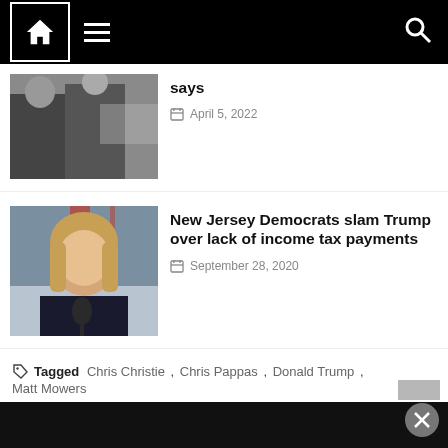Navigation bar with home icon, menu icon, and search icon
[Figure (photo): Black and white photo of two men in suits, outdoors near a house]
says
April 5, 2022
[Figure (photo): Color photo of a blonde woman speaking at a microphone, American flag in background]
New Jersey Democrats slam Trump over lack of income tax payments
September 28, 2020
Tagged Chris Christie , Chris Pappas , Donald Trump , Matt Mowers